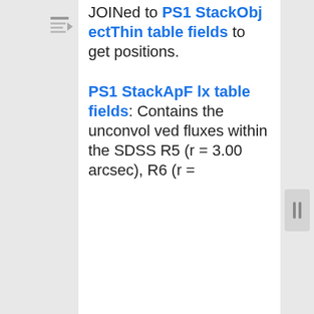JOINed to PS1 StackObjectThin table fields to get positions. PS1 StackApFlx table fields: Contains the unconvolved fluxes within the SDSS R5 (r = 3.00 arcsec), R6 (r =